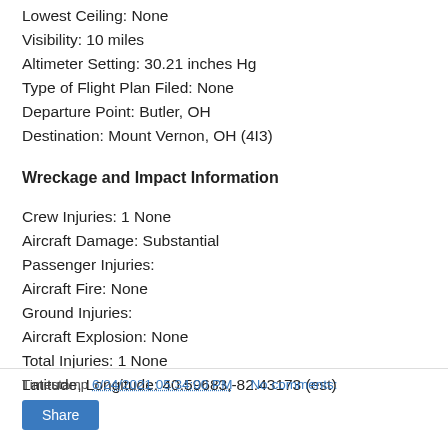Lowest Ceiling: None
Visibility: 10 miles
Altimeter Setting: 30.21 inches Hg
Type of Flight Plan Filed: None
Departure Point: Butler, OH
Destination: Mount Vernon, OH (4I3)
Wreckage and Impact Information
Crew Injuries: 1 None
Aircraft Damage: Substantial
Passenger Injuries:
Aircraft Fire: None
Ground Injuries:
Aircraft Explosion: None
Total Injuries: 1 None
Latitude, Longitude: 40.59683,-82.43173 (est)
Timestamp 6/24/2021 05:34:00 PM   No comments: